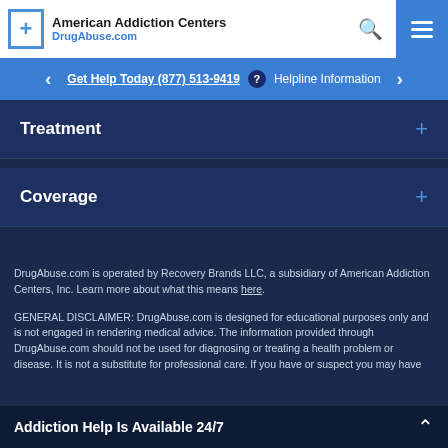[Figure (logo): American Addiction Centers / DrugAbuse.com logo with blue cross icon]
Get Help Today (877) 513-9419  Helpline Information
Treatment
Coverage
DrugAbuse.com is operated by Recovery Brands LLC, a subsidiary of American Addiction Centers, Inc. Learn more about what this means here.
GENERAL DISCLAIMER: DrugAbuse.com is designed for educational purposes only and is not engaged in rendering medical advice. The information provided through DrugAbuse.com should not be used for diagnosing or treating a health problem or disease. It is not a substitute for professional care. If you have or suspect you may have
Addiction Help Is Available 24/7